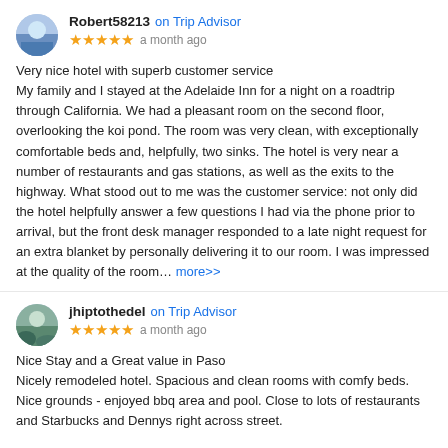Robert58213 on Trip Advisor
★★★★★ a month ago
Very nice hotel with superb customer service
My family and I stayed at the Adelaide Inn for a night on a roadtrip through California. We had a pleasant room on the second floor, overlooking the koi pond. The room was very clean, with exceptionally comfortable beds and, helpfully, two sinks. The hotel is very near a number of restaurants and gas stations, as well as the exits to the highway. What stood out to me was the customer service: not only did the hotel helpfully answer a few questions I had via the phone prior to arrival, but the front desk manager responded to a late night request for an extra blanket by personally delivering it to our room. I was impressed at the quality of the room... more>>
jhiptothedel on Trip Advisor
★★★★★ a month ago
Nice Stay and a Great value in Paso
Nicely remodeled hotel. Spacious and clean rooms with comfy beds. Nice grounds - enjoyed bbq area and pool. Close to lots of restaurants and Starbucks and Dennys right across street.